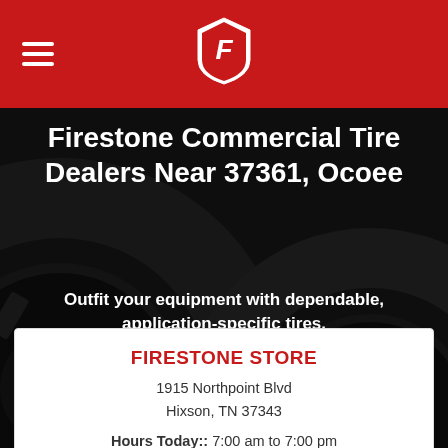Firestone logo header with hamburger menu
Firestone Commercial Tire Dealers Near 37361, Ocoee
Outfit your equipment with dependable, application-specific tires.
FIRESTONE STORE
1915 Northpoint Blvd
Hixson, TN 37343
Hours Today:: 7:00 am to 7:00 pm